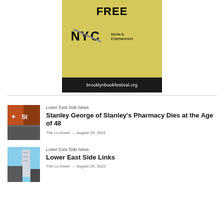[Figure (infographic): Advertisement for Brooklyn Book Festival. Yellow background with 'FREE' in large bold text, NYC Media & Entertainment logo, and black bar at bottom reading 'brooklynbookfestival.org']
[Figure (photo): Photo of a building corner with an orange sign and graffiti on brick wall]
Lower East Side News
Stanley George of Stanley's Pharmacy Dies at the Age of 48
The Lo-Down · August 29, 2022
[Figure (photo): Photo of a tall modern building against blue sky with older buildings in foreground]
Lower East Side News
Lower East Side Links
The Lo-Down · August 29, 2022